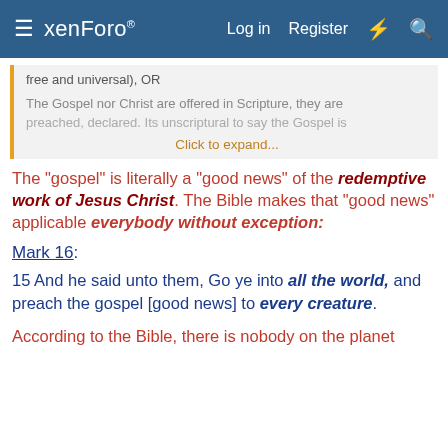xenForo — Log in  Register
free and universal), OR
The Gospel nor Christ are offered in Scripture, they are preached, declared. Its unscriptural to say the Gospel is... Click to expand...
The "gospel" is literally a "good news" of the redemptive work of Jesus Christ. The Bible makes that "good news" applicable everybody without exception:
Mark 16:
15 And he said unto them, Go ye into all the world, and preach the gospel [good news] to every creature.
According to the Bible, there is nobody on the planet